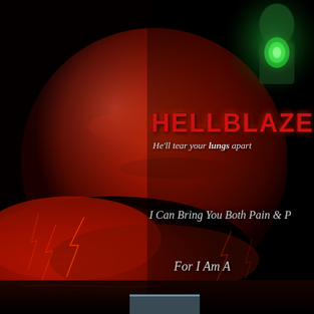[Figure (illustration): Dark fantasy book cover. Left side: large red blood moon over stormy red-lit clouds with lightning, dark water reflection below, black background. Right side: green-glowing alien/monster character at top right holding a glowing artifact. Dramatic dark atmospheric composite.]
HELLBLAZE
He'll tear your lungs apart
I Can Bring You Both Pain & P
For I Am A